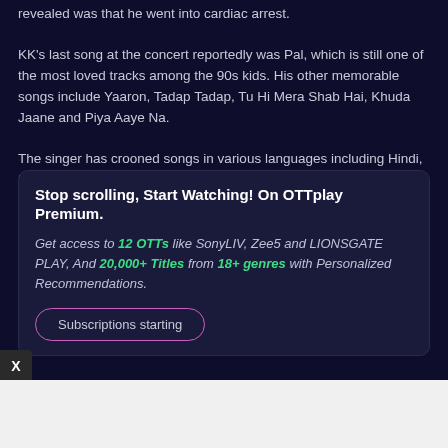revealed was that he went into cardiac arrest.
KK's last song at the concert reportedly was Pal, which is still one of the most loved tracks among the 90s kids. His other memorable songs include Yaaron, Tadap Tadap, Tu Hi Mera Shab Hai, Khuda Jaane and Piya Aaye Na.
The singer has crooned songs in various languages including Hindi, Bengali, Marathi, Tamil, Telugu, Malayalam and Kannada. Dhoop Paani Bahne De, like the name suggests, will be his Hindi song.
Stop scrolling, Start Watching! On OTTplay Premium.
Get access to 12 OTTs like SonyLIV, Zee5 and LIONSGATE PLAY, And 20,000+ Titles from 18+ genres with Personalized Recommendations.
Subscriptions starting